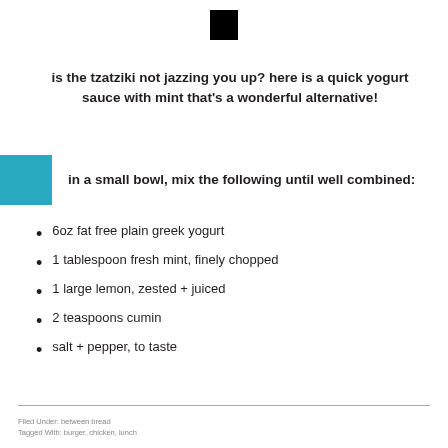[Figure (other): Small black square decorative element at top center]
is the tzatziki not jazzing you up? here is a quick yogurt sauce with mint that’s a wonderful alternative!
in a small bowl, mix the following until well combined:
6oz fat free plain greek yogurt
1 tablespoon fresh mint, finely chopped
1 large lemon, zested + juiced
2 teaspoons cumin
salt + pepper, to taste
Filed Under: between bread
Tagged With: burger, chicken, lunch